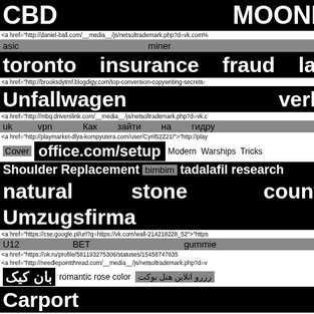CBD    MOONROCKS
<a href="http://daniel-ball.com/__media__/js/netsoltrademark.php?d=vk.com%
asic    miner
toronto    insurance    fraud    lawyer
<a href="http://brooksdytmf.blogdigy.com/top-conversion-copywriting-secrets-
Unfallwagen    verkaufen
<a href="http://mbq.driverslink.com/__media__/js/netsoltrademark.php?d=vk.c
uk    vpn    Как    зайти    на    гидру
<a href="http://playmarket-dlya-kompyutera.com/user/Cyril52Z21/">"http://play
Cover    office.com/setup    Modern    Warships    Tricks
Shoulder Replacement    bimbim    tadalafil research
natural    stone    countertops
Umzugsfirma
<a href="https://cse.google.pl/url?q=https://vk.com/wall-214218228_52">"https
U12    BET    gummie
<a href="https://ok.ru/profile/581193275306/statuses/154587476 35
<a href="http://needlepointthread.com/__media__/js/netsoltrademark.php?d=v
بان کیک    romantic rose color    رزرو انلاین هتل بوکت
Carport
<a href="https://twitter.com/BasarovTimur/status/1499043340733583360?t=8
<a href="https://twitter.com/PavelIv45143649/status/150017840275
https://133.133.35.14/